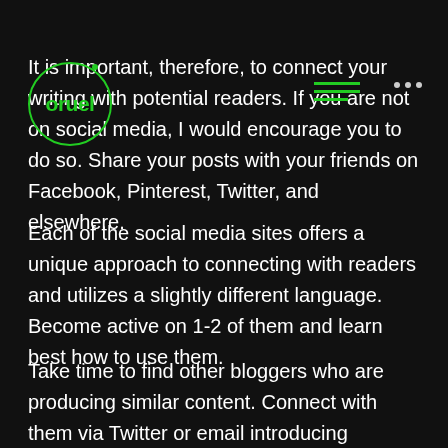oruel (logo with circle)
It is important, therefore, to connect your writing with potential readers. If you are not on social media, I would encourage you to do so. Share your posts with your friends on Facebook, Pinterest, Twitter, and elsewhere.
Each of the social media sites offers a unique approach to connecting with readers and utilizes a slightly different language. Become active on 1-2 of them and learn best how to use them.
Take time to find other bloggers who are producing similar content. Connect with them via Twitter or email introducing yourself and your goals. Include links on your site that help readers